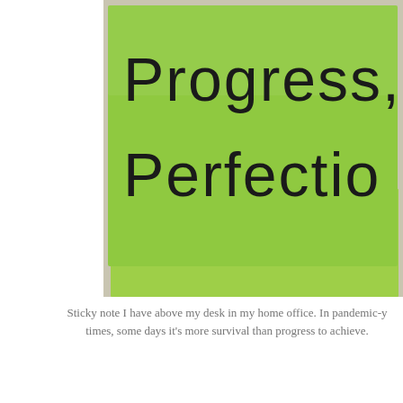[Figure (photo): A green sticky note on a beige/tan wall with handwritten text reading 'PROGRESS, NOT PERFECTION'. A second sticky note is partially visible behind/below it.]
Sticky note I have above my desk in my home office. In pandemic-y times, some days it's more survival than progress to achieve.